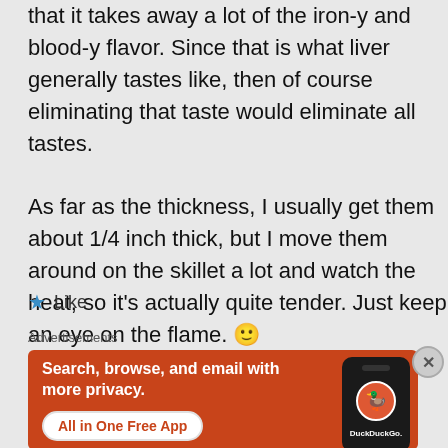that it takes away a lot of the iron-y and blood-y flavor. Since that is what liver generally tastes like, then of course eliminating that taste would eliminate all tastes.
As far as the thickness, I usually get them about 1/4 inch thick, but I move them around on the skillet a lot and watch the heat, so it's actually quite tender. Just keep an eye on the flame. 🙂
★ Like
Advertisements
[Figure (infographic): DuckDuckGo advertisement banner with orange background. Text: 'Search, browse, and email with more privacy. All in One Free App'. Shows a phone mockup with DuckDuckGo logo.]